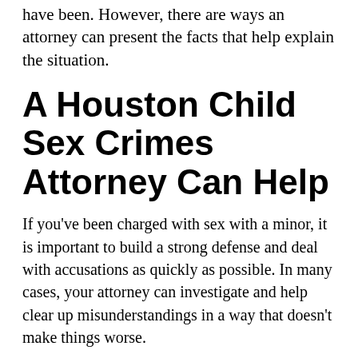have been. However, there are ways an attorney can present the facts that help explain the situation.
A Houston Child Sex Crimes Attorney Can Help
If you've been charged with sex with a minor, it is important to build a strong defense and deal with accusations as quickly as possible. In many cases, your attorney can investigate and help clear up misunderstandings in a way that doesn't make things worse.
As a former prosecutor and long-time criminal defense attorney, Ned Barnett has more than 30 years of experience in handling child sex crime cases. He knows what to look for, where